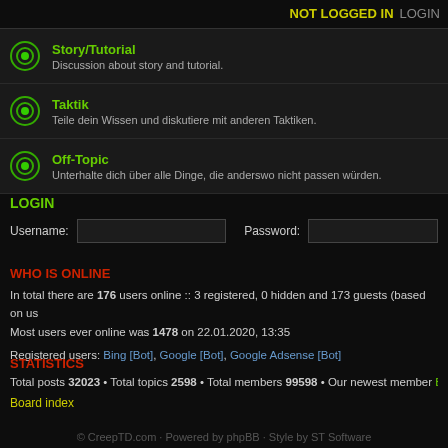NOT LOGGED IN  LOGIN
Story/Tutorial – Discussion about story and tutorial.
Taktik – Teile dein Wissen und diskutiere mit anderen Taktiken.
Off-Topic – Unterhalte dich über alle Dinge, die anderswo nicht passen würden.
LOGIN
Username: [input] Password: [input]
WHO IS ONLINE
In total there are 176 users online :: 3 registered, 0 hidden and 173 guests (based on users active over the past 5 minutes). Most users ever online was 1478 on 22.01.2020, 13:35
Registered users: Bing [Bot], Google [Bot], Google Adsense [Bot]
STATISTICS
Total posts 32023 • Total topics 2598 • Total members 99598 • Our newest member Bee
Board index
© CreepTD.com · Powered by phpBB · Style by ST Software